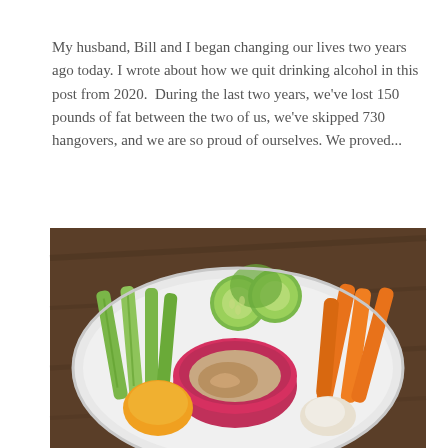My husband, Bill and I began changing our lives two years ago today. I wrote about how we quit drinking alcohol in this post from 2020.  During the last two years, we've lost 150 pounds of fat between the two of us, we've skipped 730 hangovers, and we are so proud of ourselves. We proved...
[Figure (photo): A white plate with fresh vegetable crudités arranged around a pink bowl of hummus. Vegetables include celery sticks, sliced cucumbers, carrot sticks, and an orange bell pepper, arranged on a dark wood table.]